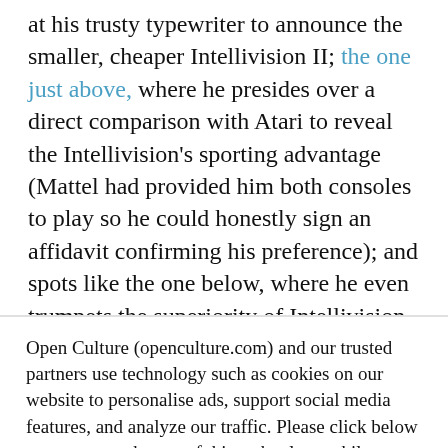at his trusty typewriter to announce the smaller, cheaper Intellivision II; the one just above, where he presides over a direct comparison with Atari to reveal the Intellivision's sporting advantage (Mattel had provided him both consoles to play so he could honestly sign an affidavit confirming his preference); and spots like the one below, where he even trumpets the superiority of Intellivision space shooters. Plimpton's influence on classic gaming survives him,
Open Culture (openculture.com) and our trusted partners use technology such as cookies on our website to personalise ads, support social media features, and analyze our traffic. Please click below to consent to the use of this technology while browsing our site.
Cookie settings   ACCEPT